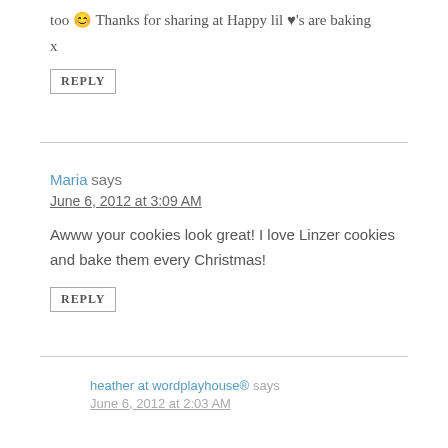too 🙂 Thanks for sharing at Happy lil ♥'s are baking x
REPLY
Maria says
June 6, 2012 at 3:09 AM
Awww your cookies look great! I love Linzer cookies and bake them every Christmas!
REPLY
heather at wordplayhouse® says
June 6, 2012 at 2:03 AM